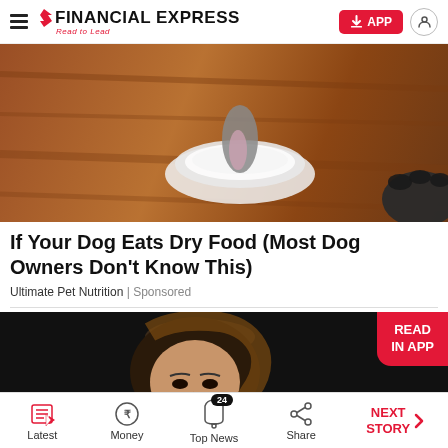FINANCIAL EXPRESS — Read to Lead
[Figure (photo): A dog licking from a small glass dish placed on a wooden surface, with a dark dog paw visible at the right edge]
If Your Dog Eats Dry Food (Most Dog Owners Don't Know This)
Ultimate Pet Nutrition | Sponsored
[Figure (photo): A woman with dark hair against a dark background, partially visible, with a 'READ IN APP' red badge in the top right corner]
Latest | Money | Top News (24) | Share | NEXT STORY